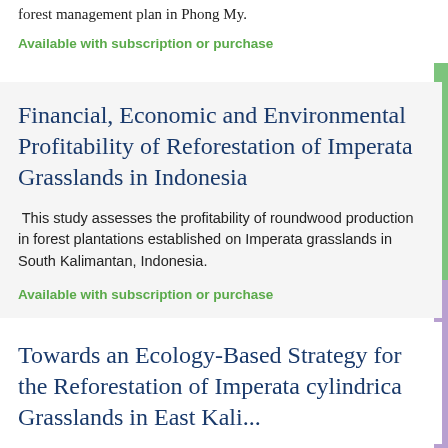forest management plan in Phong My.
Available with subscription or purchase
Financial, Economic and Environmental Profitability of Reforestation of Imperata Grasslands in Indonesia
This study assesses the profitability of roundwood production in forest plantations established on Imperata grasslands in South Kalimantan, Indonesia.
Available with subscription or purchase
Towards an Ecology-Based Strategy for the Reforestation of Imperata cylindrica Grasslands in East Kali...